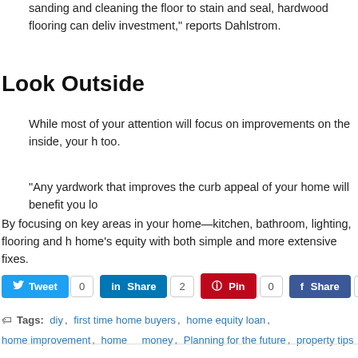sanding and cleaning the floor to stain and seal, hardwood flooring can deliver a return on investment," reports Dahlstrom.
Look Outside
While most of your attention will focus on improvements on the inside, your home's exterior too.
"Any yardwork that improves the curb appeal of your home will benefit you lo
By focusing on key areas in your home—kitchen, bathroom, lighting, flooring and home's equity with both simple and more extensive fixes.
[Figure (infographic): Social sharing buttons: Tweet (0), LinkedIn Share (2), Pinterest Pin (0), Facebook Share]
Tags: diy, first time home buyers, home equity loan, home improvement, home money, Planning for the future, property tips
Get Updates
Subscribe to our e-mail newsletter to receive updates.
Related Articles
Health Savings Accounts: Ch
Reasons to Not Buy Life Insu